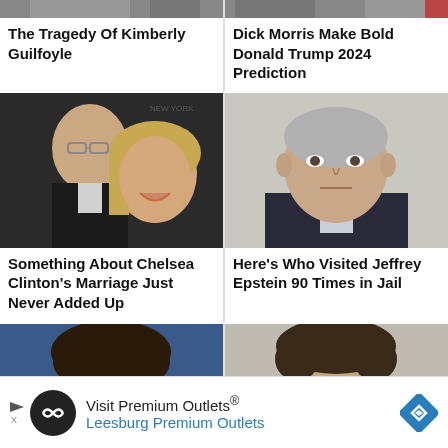[Figure (photo): Partial photo of Kimberly Guilfoyle (top, cropped)]
[Figure (photo): Partial photo of Dick Morris / Donald Trump related image (top, cropped)]
The Tragedy Of Kimberly Guilfoyle
Dick Morris Make Bold Donald Trump 2024 Prediction
[Figure (photo): Chelsea Clinton and husband Marc Mezvinsky smiling at event]
[Figure (photo): Jeffrey Epstein looking serious, close-up headshot]
Something About Chelsea Clinton's Marriage Just Never Added Up
Here's Who Visited Jeffrey Epstein 90 Times in Jail
[Figure (photo): Partial photo of person with curly hair (bottom left, cropped)]
[Figure (photo): Partial photo of person with curly hair (bottom right, cropped)]
Visit Premium Outlets® Leesburg Premium Outlets